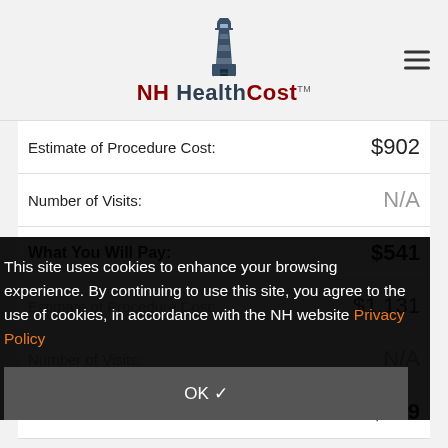NH HealthCost
| Label | Value |
| --- | --- |
| Estimate of Procedure Cost: | $902 |
| Number of Visits: | N/A |
| What You Will Pay: | $541 |
This site uses cookies to enhance your browsing experience. By continuing to use this site, you agree to the use of cookies, in accordance with the NH website Privacy Policy
| Label | Value |
| --- | --- |
| Estimate of Procedure Cost: | $1,131 |
| Number of Visits: | N/A |
| What You Will Pay: | $679 |